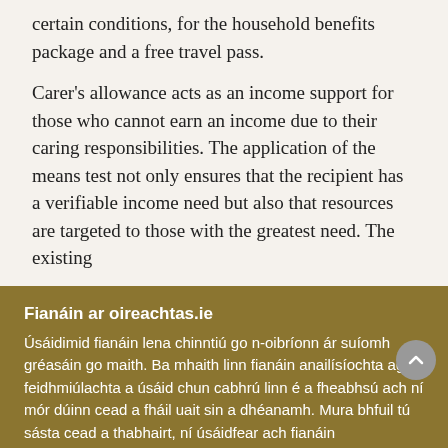certain conditions, for the household benefits package and a free travel pass.
Carer's allowance acts as an income support for those who cannot earn an income due to their caring responsibilities. The application of the means test not only ensures that the recipient has a verifiable income need but also that resources are targeted to those with the greatest need. The existing
Fianáin ar oireachtas.ie
Úsáidimid fianáin lena chinntiú go n-oibríonn ár suíomh gréasáin go maith. Ba mhaith linn fianáin anailísíochta agus feidhmiúlachta a úsáid chun cabhrú linn é a fheabhsú ach ní mór dúinn cead a fháil uait sin a dhéanamh. Mura bhfuil tú sásta cead a thabhairt, ní úsáidfear ach fianáin riachtanacha. Léigh tuileadh faoinár bhfianáin
Socraigh sainroghanna fianán
Glac leis na fianáin go léir